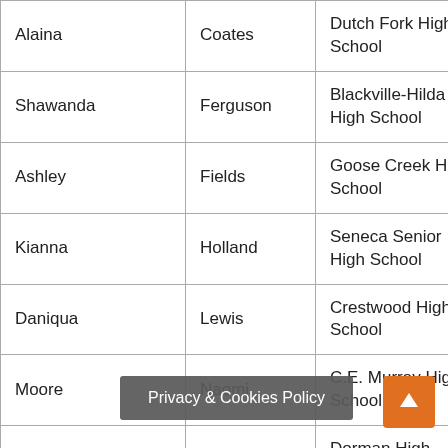| First Name | Last Name | School | City |
| --- | --- | --- | --- |
| Alaina | Coates | Dutch Fork High School | Irmo |
| Shawanda | Ferguson | Blackville-Hilda High School | Blackville |
| Ashley | Fields | Goose Creek High School | Goose Creek |
| Kianna | Holland | Seneca Senior High School | Seneca |
| Daniqua | Lewis | Crestwood High School | Sumter |
| Moore | Naomi | C.E. Murray High School | Greeleyville |
| Kenya | Olley | Dorman High School | Roebuck |
| Kiera | R... |  | Columbia |